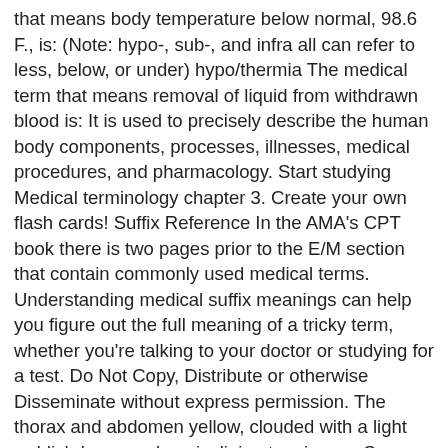that means body temperature below normal, 98.6 F., is: (Note: hypo-, sub-, and infra all can refer to less, below, or under) hypo/thermia The medical term that means removal of liquid from withdrawn blood is: It is used to precisely describe the human body components, processes, illnesses, medical procedures, and pharmacology. Start studying Medical terminology chapter 3. Create your own flash cards! Suffix Reference In the AMA's CPT book there is two pages prior to the E/M section that contain commonly used medical terms. Understanding medical suffix meanings can help you figure out the full meaning of a tricky term, whether you're talking to your doctor or studying for a test. Do Not Copy, Distribute or otherwise Disseminate without express permission. The thorax and abdomen yellow, clouded with a light reddish-brown colour, inclining to crimson. See more. All rights reserved. Brazil's School Shooting: What Happened Inside, Illustrations of Exotic Entomology, Volume 1, Report on the Radiolaria Collected by H.M.S. The part of the human body between the neck and the diaphragm, partially encased by the ribs and containing the heart and lungs; the chest. Amniocentesis is the medical term meaning surgical puncture of the amnion. - a benign tumor in which the cells form cysts. Some suffixes are used to indicate parts of speech - whether the medical term is a